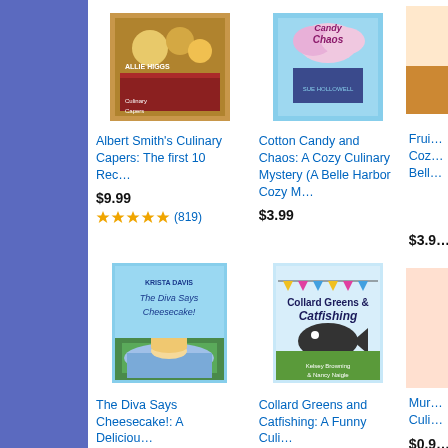[Figure (illustration): Book cover: Albert Smith's Culinary Capers, with food imagery and striped background]
Albert Smith's Culinary Capers: The first 10 Rec…
$9.99
4.9 stars (819)
[Figure (illustration): Book cover: Cotton Candy and Chaos: A Cozy Culinary Mystery (A Belle Harbor Cozy M…) by Sue Hollowell, with candy and books imagery]
Cotton Candy and Chaos: A Cozy Culinary Mystery (A Belle Harbor Cozy M…
$3.99
Frui… Coz… Bell…
$3.9…
[Figure (illustration): Book cover: The Diva Says Cheesecake!: A Delicious… by Krista Davis, with garden party and cheesecake scene]
The Diva Says Cheesecake!: A Deliciou…
$12.99
4.5 stars (389)
[Figure (illustration): Book cover: Collard Greens and Catfishing: A Funny Culi… by Kelsey Browning & Nancy Naigle, with catfish and party banner imagery]
Collard Greens and Catfishing: A Funny Culi…
$4.99
4.4 stars (383)
Mur… Culi…
$0.9…